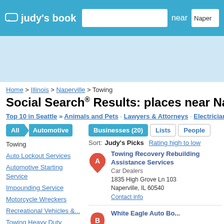judy's book — search near Naperville
Home > Illinois > Naperville > Towing
Social Search® Results: places near Naperville, IL (0...
Top 10 in Seattle » Animals and Pets · Lawyers & Attorneys · Electricians · Bars ·
All > Automotive
Towing
Auto Lockout Services
Automotive Starting Service
Impounding Service
Motorcycle Wreckers
Recreational Vehicles &...
Towing Heavy Duty
Businesses (20)  Lists  People
Sort:  Judy's Picks   Rating high to low
Towing Recovery Rebuilding Assistance Services
Car Dealers
1835 High Grove Ln 103
Naperville, IL 60540
Contact info
White Eagle Auto Body...